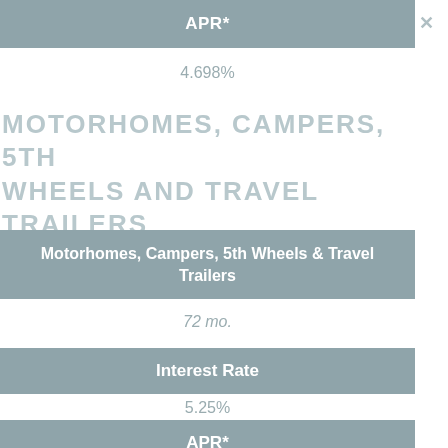| APR* |
| --- |
| 4.698% |
MOTORHOMES, CAMPERS, 5TH WHEELS AND TRAVEL TRAILERS
| Motorhomes, Campers, 5th Wheels & Travel Trailers | 72 mo. | Interest Rate | 5.25% | APR* | 5.428% |
| --- | --- | --- | --- | --- | --- |